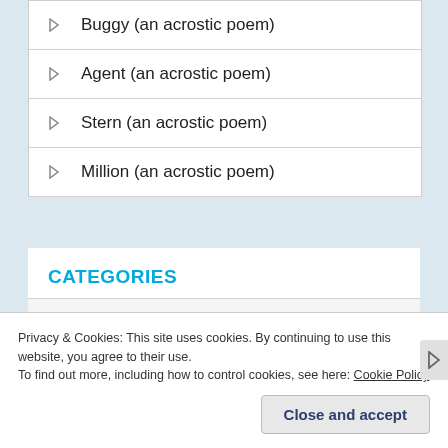Buggy (an acrostic poem)
Agent (an acrostic poem)
Stern (an acrostic poem)
Million (an acrostic poem)
CATEGORIES
100 Word Story
Privacy & Cookies: This site uses cookies. By continuing to use this website, you agree to their use.
To find out more, including how to control cookies, see here: Cookie Policy
Close and accept